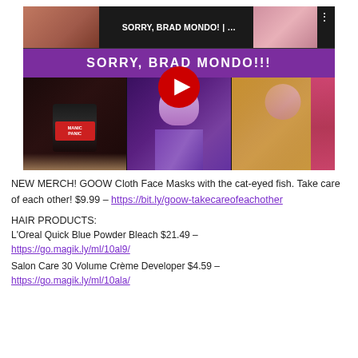[Figure (screenshot): YouTube video thumbnail for 'SORRY, BRAD MONDO! | ...' showing women with purple/pink hair and a Manic Panic hair dye jar, with a red YouTube play button overlay and a purple banner reading 'SORRY, BRAD MONDO!!!']
NEW MERCH! GOOW Cloth Face Masks with the cat-eyed fish. Take care of each other! $9.99 – https://bit.ly/goow-takecareofeachother
HAIR PRODUCTS:
L'Oreal Quick Blue Powder Bleach $21.49 – https://go.magik.ly/ml/10al9/
Salon Care 30 Volume Crème Developer $4.59 – https://go.magik.ly/ml/10ala/